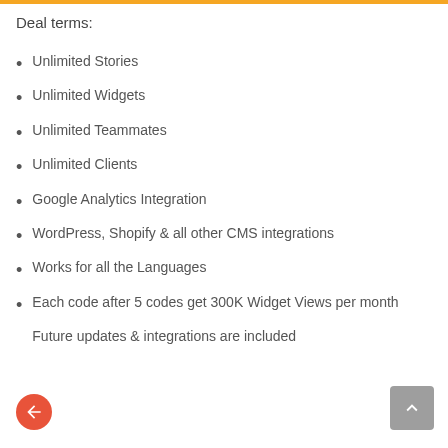Deal terms:
Unlimited Stories
Unlimited Widgets
Unlimited Teammates
Unlimited Clients
Google Analytics Integration
WordPress, Shopify & all other CMS integrations
Works for all the Languages
Each code after 5 codes get 300K Widget Views per month
Future updates & integrations are included